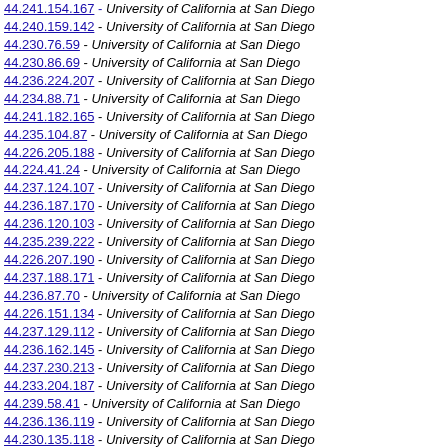44.241.154.167 - University of California at San Diego
44.240.159.142 - University of California at San Diego
44.230.76.59 - University of California at San Diego
44.230.86.69 - University of California at San Diego
44.236.224.207 - University of California at San Diego
44.234.88.71 - University of California at San Diego
44.241.182.165 - University of California at San Diego
44.235.104.87 - University of California at San Diego
44.226.205.188 - University of California at San Diego
44.224.41.24 - University of California at San Diego
44.237.124.107 - University of California at San Diego
44.236.187.170 - University of California at San Diego
44.236.120.103 - University of California at San Diego
44.235.239.222 - University of California at San Diego
44.226.207.190 - University of California at San Diego
44.237.188.171 - University of California at San Diego
44.236.87.70 - University of California at San Diego
44.226.151.134 - University of California at San Diego
44.237.129.112 - University of California at San Diego
44.236.162.145 - University of California at San Diego
44.237.230.213 - University of California at San Diego
44.233.204.187 - University of California at San Diego
44.239.58.41 - University of California at San Diego
44.236.136.119 - University of California at San Diego
44.230.135.118 - University of California at San Diego
44.231.246.229 - University of California at San Diego
44.240.186.169 - University of California at San Diego
44.237.44.27 - University of California at San Diego
44.241.53.36 - University of California at San Diego
44.234.66.49 - University of California at San Diego
44.230.251.224 - University of California at San Diego